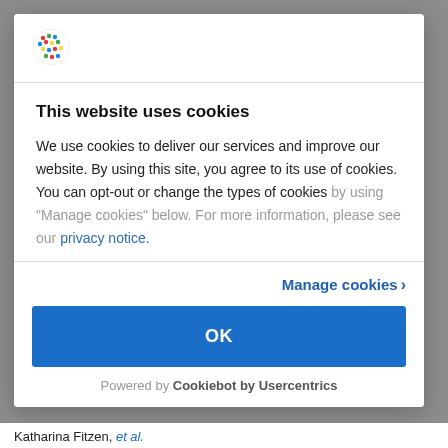[Figure (logo): Cookiebot/Usercentrics colorful dot grid logo circle]
This website uses cookies
We use cookies to deliver our services and improve our website. By using this site, you agree to its use of cookies. You can opt-out or change the types of cookies by using “Manage cookies” below. For more information, please see our privacy notice.
Manage cookies ›
OK
Powered by Cookiebot by Usercentrics
Katharina Fitzen, et al.